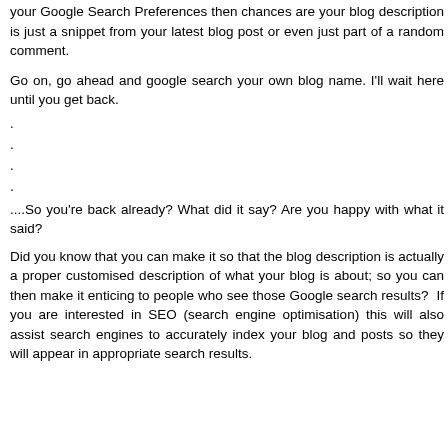your Google Search Preferences then chances are your blog description is just a snippet from your latest blog post or even just part of a random comment.
Go on, go ahead and google search your own blog name. I'll wait here until you get back.
.
.
.
.
....So you're back already? What did it say? Are you happy with what it said?
Did you know that you can make it so that the blog description is actually a proper customised description of what your blog is about; so you can then make it enticing to people who see those Google search results?  If you are interested in SEO (search engine optimisation) this will also assist search engines to accurately index your blog and posts so they will appear in appropriate search results.